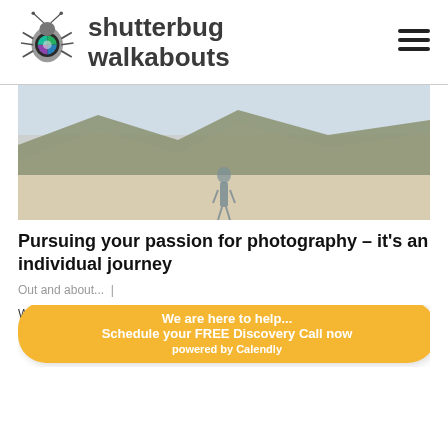[Figure (logo): Shutterbug Walkabouts logo: stylized bug/spider with camera lens eye, next to text 'shutterbug walkabouts']
[Figure (photo): A person walking on a sandy beach with a rocky hill/mountain in the background under a hazy sky]
Pursuing your passion for photography – it's an individual journey
Out and about... |
Wh... photo... photography. Photography is an activity that b... S... and p...
[Figure (infographic): Yellow rounded banner CTA: 'We are here to help... Schedule your FREE Discovery Call now powered by Calendly']